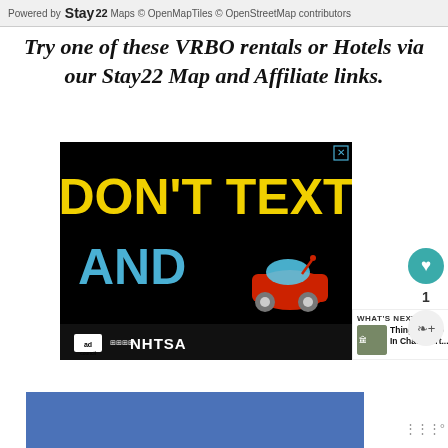Powered by Stay22 Maps © OpenMapTiles © OpenStreetMap contributors
Try one of these VRBO rentals or Hotels via our Stay22 Map and Affiliate links.
[Figure (other): DON'T TEXT AND [car emoji] advertisement for NHTSA/Ad Council anti-texting-while-driving campaign, black background with yellow and cyan text]
[Figure (other): Blue banner advertisement placeholder at the bottom of the page]